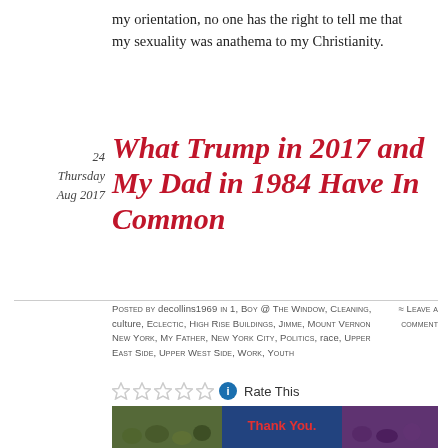my orientation, no one has the right to tell me that my sexuality was anathema to my Christianity.
24
Thursday
Aug 2017
What Trump in 2017 and My Dad in 1984 Have In Common
Posted by decollins1969 in 1, Boy @ The Window, Cleaning, culture, Eclectic, High Rise Buildings, Jimme, Mount Vernon New York, My Father, New York City, Politics, race, Upper East Side, Upper West Side, Work, Youth
≈ Leave a comment
Rate This
[Figure (photo): Image strip at bottom showing crowd photos with 'Thank You.' text in center]